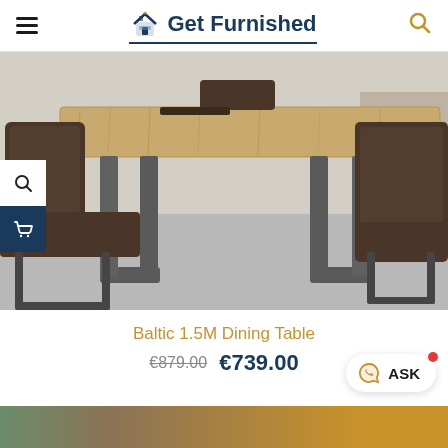Get Furnished
[Figure (photo): A wooden dining table with dark metal U-shaped legs, surrounded by dark brown leather/fabric chairs with metal cantilever bases, on a grey concrete floor]
Baltic 1.5M Dining Table
€879.00  €739.00